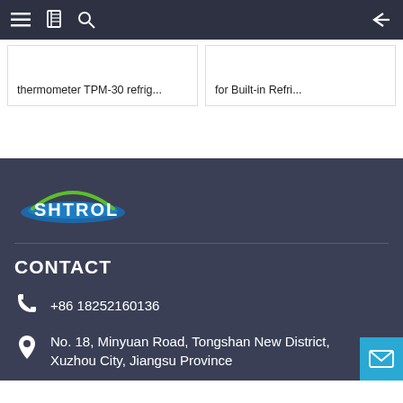Navigation bar with menu, book, search icons and back arrow
thermometer TPM-30 refrig...
for Built-in Refri...
[Figure (logo): SHTROL company logo with blue ellipse and green arc on dark background]
CONTACT
+86 18252160136
No. 18, Minyuan Road, Tongshan New District, Xuzhou City, Jiangsu Province